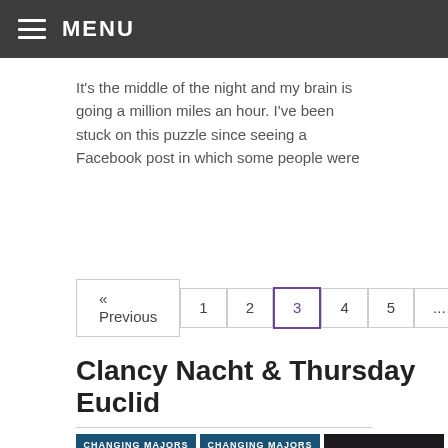MENU
It's the middle of the night and my brain is going a million miles an hour. I've been stuck on this puzzle since seeing a Facebook post in which some people were
« Previous  1  2  3  4  5  ...  9  Next »
Clancy Nacht & Thursday Euclid
[Figure (photo): Three book covers for 'Changing Majors']